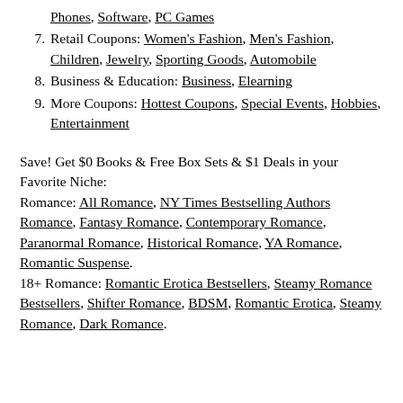Phones, Software, PC Games
7. Retail Coupons: Women's Fashion, Men's Fashion, Children, Jewelry, Sporting Goods, Automobile
8. Business & Education: Business, Elearning
9. More Coupons: Hottest Coupons, Special Events, Hobbies, Entertainment
Save! Get $0 Books & Free Box Sets & $1 Deals in your Favorite Niche:
Romance: All Romance, NY Times Bestselling Authors Romance, Fantasy Romance, Contemporary Romance, Paranormal Romance, Historical Romance, YA Romance, Romantic Suspense.
18+ Romance: Romantic Erotica Bestsellers, Steamy Romance Bestsellers, Shifter Romance, BDSM, Romantic Erotica, Steamy Romance, Dark Romance.